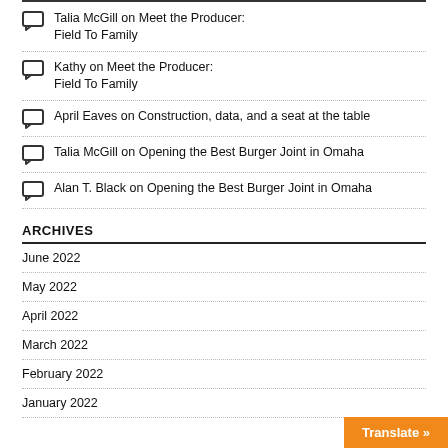Talia McGill on Meet the Producer: Field To Family
Kathy on Meet the Producer: Field To Family
April Eaves on Construction, data, and a seat at the table
Talia McGill on Opening the Best Burger Joint in Omaha
Alan T. Black on Opening the Best Burger Joint in Omaha
ARCHIVES
June 2022
May 2022
April 2022
March 2022
February 2022
January 2022